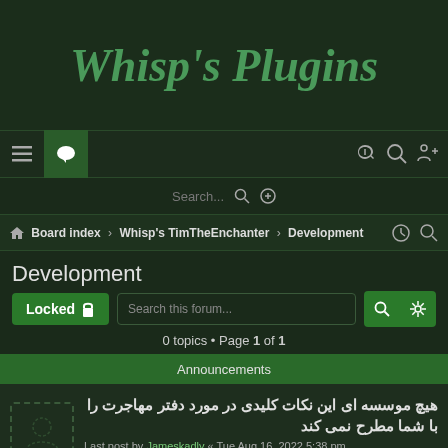Whisp's Plugins
Board index › Whisp's TimTheEnchanter › Development
Development
Locked 🔒  Search this forum...  0 topics • Page 1 of 1
Announcements
هیچ موسسه ای این نکات کلیدی در مورد دفتر مهاجرت را با شما مطرح نمی کند
Last post by Jameskadly « Tue Aug 16, 2022 5:38 pm
Posted in Off Topic
Replies: 10